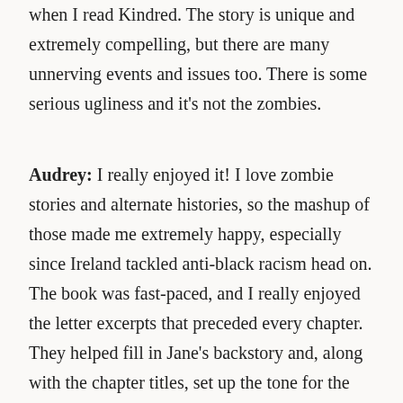when I read Kindred. The story is unique and extremely compelling, but there are many unnerving events and issues too. There is some serious ugliness and it's not the zombies.
Audrey: I really enjoyed it! I love zombie stories and alternate histories, so the mashup of those made me extremely happy, especially since Ireland tackled anti-black racism head on. The book was fast-paced, and I really enjoyed the letter excerpts that preceded every chapter. They helped fill in Jane's backstory and, along with the chapter titles, set up the tone for the next bit of the narrative.